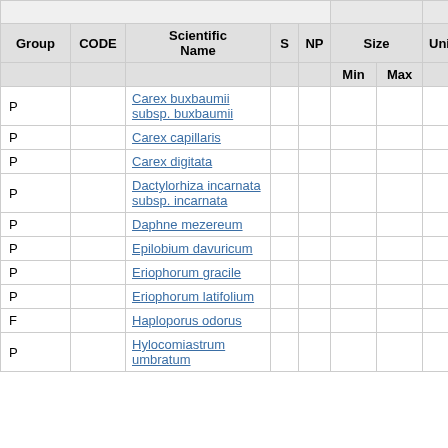| Group | CODE | Scientific Name | S | NP | Min | Max | Unit |
| --- | --- | --- | --- | --- | --- | --- | --- |
| P |  | Carex buxbaumii subsp. buxbaumii |  |  |  |  |  |
| P |  | Carex capillaris |  |  |  |  |  |
| P |  | Carex digitata |  |  |  |  |  |
| P |  | Dactylorhiza incarnata subsp. incarnata |  |  |  |  |  |
| P |  | Daphne mezereum |  |  |  |  |  |
| P |  | Epilobium davuricum |  |  |  |  |  |
| P |  | Eriophorum gracile |  |  |  |  |  |
| P |  | Eriophorum latifolium |  |  |  |  |  |
| F |  | Haploporus odorus |  |  |  |  |  |
| P |  | Hylocomiastrum umbratum |  |  |  |  |